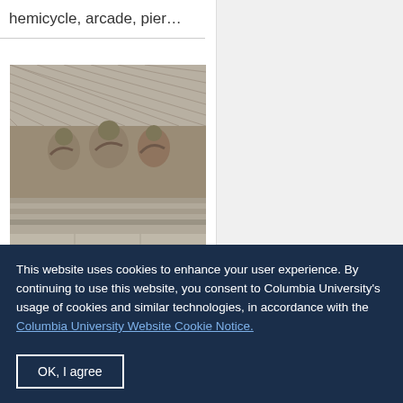hemicycle, arcade, pier…
[Figure (photo): Close-up photograph of Romanesque stone carved architectural detail, showing ornate capital with figural relief sculpture and decorative stonework from Abbaye de Fontevrault]
Abbaye de Fontevrault
This website uses cookies to enhance your user experience. By continuing to use this website, you consent to Columbia University's usage of cookies and similar technologies, in accordance with the Columbia University Website Cookie Notice.
OK, I agree